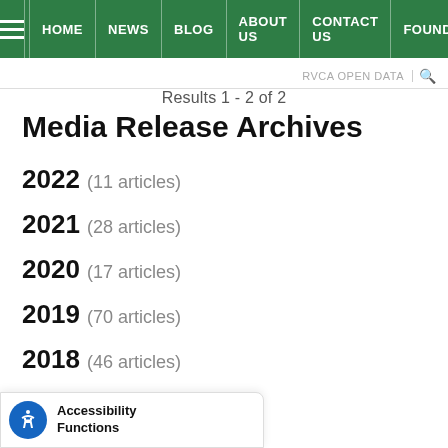HOME | NEWS | BLOG | ABOUT US | CONTACT US | FOUNDATION
RVCA OPEN DATA
Results 1 - 2 of 2
Media Release Archives
2022 (11 articles)
2021 (28 articles)
2020 (17 articles)
2019 (70 articles)
2018 (46 articles)
...18 (2 articles)
...18 (3 articles)
Accessibility Functions